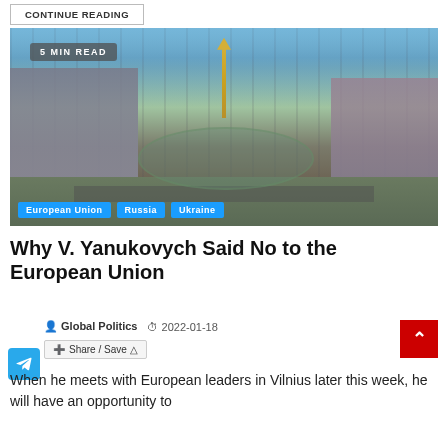CONTINUE READING
[Figure (photo): Aerial view of Kyiv city center, Maidan Nezalezhnosti (Independence Square) with a tall monument/column in the center, surrounding Soviet-era buildings, green parks, and a large crowd visible. Tags: European Union, Russia, Ukraine. Badge: 5 MIN READ.]
Why V. Yanukovych Said No to the European Union
Global Politics   2022-01-18
Share / Save
When he meets with European leaders in Vilnius later this week, he will have an opportunity to